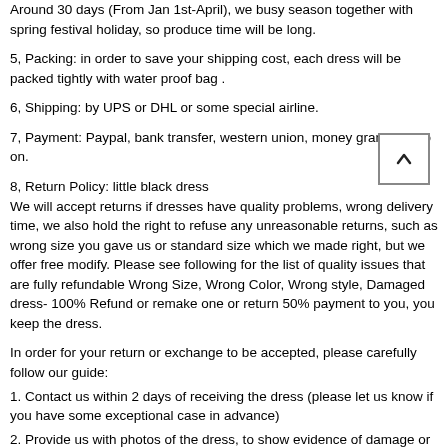Around 30 days (From Jan 1st-April), we busy season together with spring festival holiday, so produce time will be long.
5, Packing: in order to save your shipping cost, each dress will be packed tightly with water proof bag .
6, Shipping: by UPS or DHL or some special airline.
7, Payment: Paypal, bank transfer, western union, money gram and so on.
8, Return Policy: little black dress
We will accept returns if dresses have quality problems, wrong delivery time, we also hold the right to refuse any unreasonable returns, such as wrong size you gave us or standard size which we made right, but we offer free modify. Please see following for the list of quality issues that are fully refundable Wrong Size, Wrong Color, Wrong style, Damaged dress- 100% Refund or remake one or return 50% payment to you, you keep the dress.
In order for your return or exchange to be accepted, please carefully follow our guide:
1. Contact us within 2 days of receiving the dress (please let us know if you have some exceptional case in advance)
2. Provide us with photos of the dress, to show evidence of damage or bad